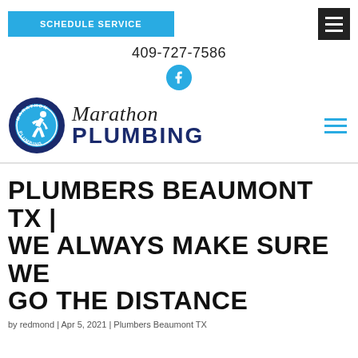SCHEDULE SERVICE
409-727-7586
[Figure (logo): Facebook icon — cyan circle with white 'f' letterform]
[Figure (logo): Marathon Plumbing logo — circular badge with runner icon and italic/bold text 'Marathon PLUMBING']
PLUMBERS BEAUMONT TX | WE ALWAYS MAKE SURE WE GO THE DISTANCE
by redmond | Apr 5, 2021 | Plumbers Beaumont TX